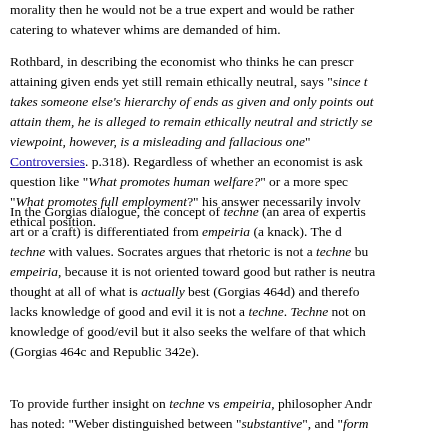morality then he would not be a true expert and would be rather catering to whatever whims are demanded of him.
Rothbard, in describing the economist who thinks he can prescribe attaining given ends yet still remain ethically neutral, says "since the takes someone else's hierarchy of ends as given and only points out attain them, he is alleged to remain ethically neutral and strictly se viewpoint, however, is a misleading and fallacious one" Controversies. p.318). Regardless of whether an economist is ask question like "What promotes human welfare?" or a more spec "What promotes full employment?" his answer necessarily involv ethical position.
In the Gorgias dialogue, the concept of techne (an area of expertis art or a craft) is differentiated from empeiria (a knack). The d techne with values. Socrates argues that rhetoric is not a techne bu empeiria, because it is not oriented toward good but rather is neutra thought at all of what is actually best (Gorgias 464d) and therefo lacks knowledge of good and evil it is not a techne. Techne not on knowledge of good/evil but it also seeks the welfare of that which (Gorgias 464c and Republic 342e).
To provide further insight on techne vs empeiria, philosopher Andr has noted: "Weber distinguished between "substantive", and "form